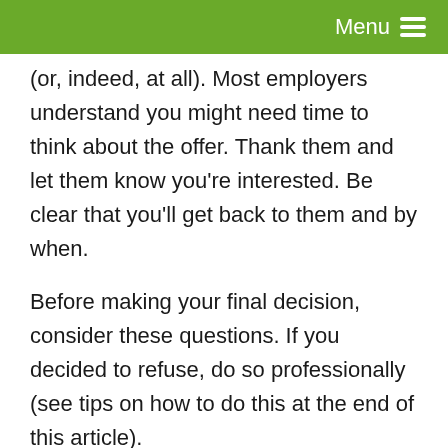Menu
(or, indeed, at all). Most employers understand you might need time to think about the offer. Thank them and let them know you're interested. Be clear that you'll get back to them and by when.
Before making your final decision, consider these questions. If you decided to refuse, do so professionally (see tips on how to do this at the end of this article).
What does your gut tell